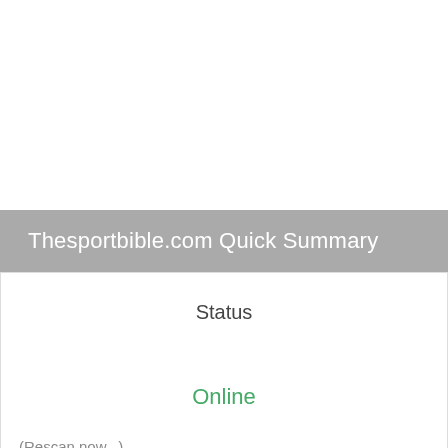Thesportbible.com Quick Summary
Status
Online
(Rescan now...)